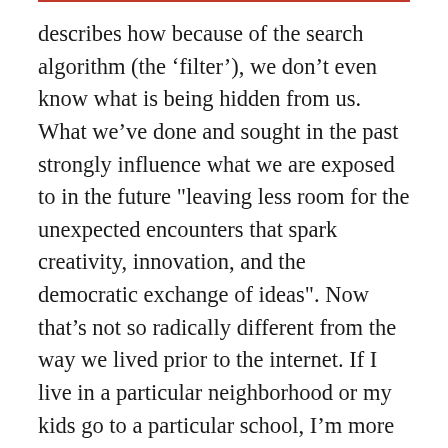describes how because of the search algorithm (the ‘filter’), we don’t even know what is being hidden from us. What we’ve done and sought in the past strongly influence what we are exposed to in the future "leaving less room for the unexpected encounters that spark creativity, innovation, and the democratic exchange of ideas". Now that’s not so radically different from the way we lived prior to the internet. If I live in a particular neighborhood or my kids go to a particular school, I’m more likely to be friends with those people and remain in that orbit. But other recent research shows that young people today, while fairly technically savvy, have not been taught skills to evaluate the information they find.